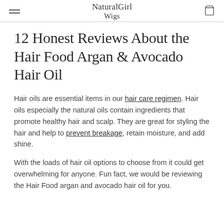NaturalGirl Wigs
12 Honest Reviews About the Hair Food Argan & Avocado Hair Oil
Hair oils are essential items in our hair care regimen. Hair oils especially the natural oils contain ingredients that promote healthy hair and scalp. They are great for styling the hair and help to prevent breakage, retain moisture, and add shine.
With the loads of hair oil options to choose from it could get overwhelming for anyone. Fun fact, we would be reviewing the Hair Food argan and avocado hair oil for you.